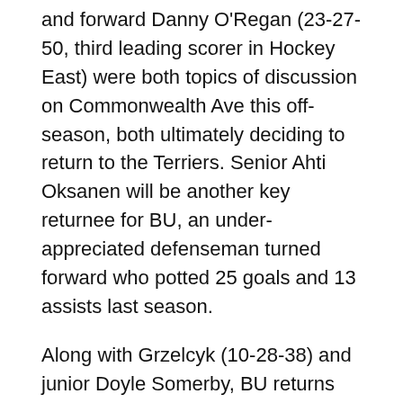and forward Danny O'Regan (23-27-50, third leading scorer in Hockey East) were both topics of discussion on Commonwealth Ave this off-season, both ultimately deciding to return to the Terriers. Senior Ahti Oksanen will be another key returnee for BU, an under-appreciated defenseman turned forward who potted 25 goals and 13 assists last season.
Along with Grzelcyk (10-28-38) and junior Doyle Somerby, BU returns an onslaught of talent from a defense that allowed just 2.32 goals per game last season, third best in Hockey East, in sophomores Brandon Hickey, John MacLeod, Brien Diffley and Brandon Fortunato.
Although Connor LaCouvee, last year's backup to OIS...